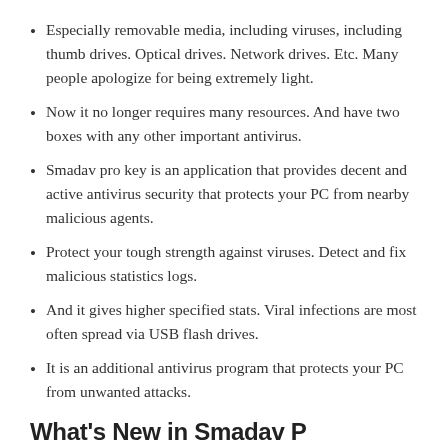Especially removable media, including viruses, including thumb drives. Optical drives. Network drives. Etc. Many people apologize for being extremely light.
Now it no longer requires many resources. And have two boxes with any other important antivirus.
Smadav pro key is an application that provides decent and active antivirus security that protects your PC from nearby malicious agents.
Protect your tough strength against viruses. Detect and fix malicious statistics logs.
And it gives higher specified stats. Viral infections are most often spread via USB flash drives.
It is an additional antivirus program that protects your PC from unwanted attacks.
What's New in Smadav P...